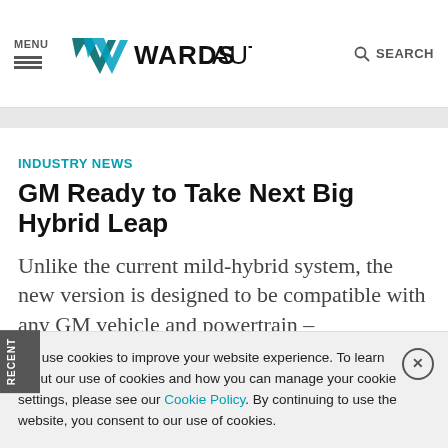MENU | WardsAuto | SEARCH
INDUSTRY NEWS
GM Ready to Take Next Big Hybrid Leap
Unlike the current mild-hybrid system, the new version is designed to be compatible with any GM vehicle and powertrain &#8211;
We use cookies to improve your website experience. To learn about our use of cookies and how you can manage your cookie settings, please see our Cookie Policy. By continuing to use the website, you consent to our use of cookies.